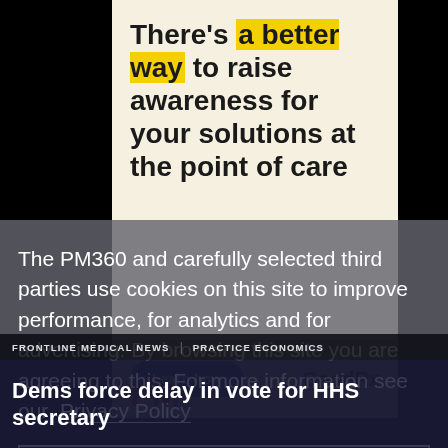[Figure (screenshot): Advertisement banner with text 'There's a better way to raise awareness for your solutions at the point of care', with a 'Learn how' button and GoodRx logo]
The PM360 and carefully selected third parties use cookies on this site to improve performance, for analytics and for advertising. By browsing this site you are agreeing to this. For more information see our Privacy Policy
Close
FRONTLINE MEDICAL NEWS | PRACTICE ECONOMICS
Dems force delay in vote for HHS secretary